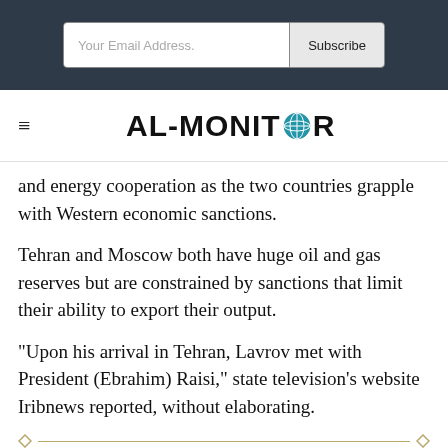Your Email Address. Subscribe
[Figure (logo): AL-MONITOR logo with globe icon replacing the O]
and energy cooperation as the two countries grapple with Western economic sanctions.
Tehran and Moscow both have huge oil and gas reserves but are constrained by sanctions that limit their ability to export their output.
"Upon his arrival in Tehran, Lavrov met with President (Ebrahim) Raisi," state television's website Iribnews reported, without elaborating.